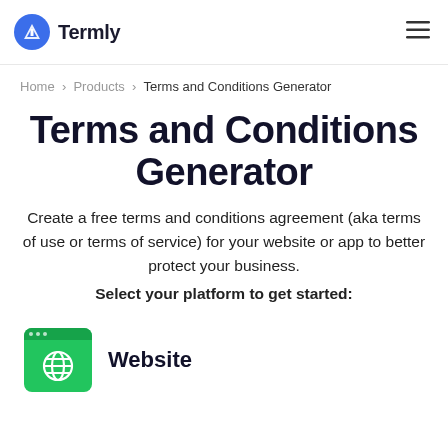Termly
Home > Products > Terms and Conditions Generator
Terms and Conditions Generator
Create a free terms and conditions agreement (aka terms of use or terms of service) for your website or app to better protect your business. Select your platform to get started:
[Figure (illustration): Green website icon with a globe symbol and browser chrome bar with dots]
Website